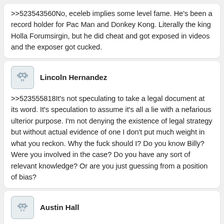>>523543560No, eceleb implies some level fame. He's been a record holder for Pac Man and Donkey Kong. Literally the king Holla Forumsirgin, but he did cheat and got exposed in videos and the exposer got cucked.
Lincoln Hernandez
>>523555818It's not speculating to take a legal document at its word. It's speculation to assume it's all a lie with a nefarious ulterior purpose. I'm not denying the existence of legal strategy but without actual evidence of one I don't put much weight in what you reckon. Why the fuck should I? Do you know Billy? Were you involved in the case? Do you have any sort of relevant knowledge? Or are you just guessing from a position of bias?
Austin Hall
>>523550663Brincolina putos